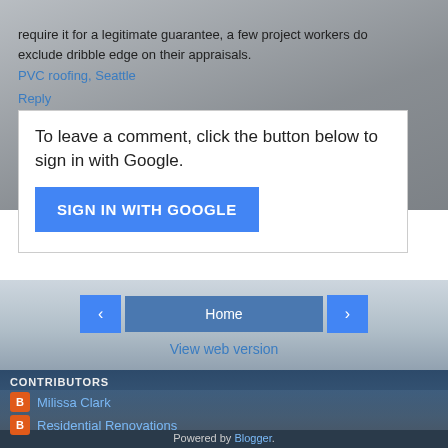require it for a legitimate guarantee, a few project workers do exclude dribble edge on their appraisals.
PVC roofing, Seattle
Reply
To leave a comment, click the button below to sign in with Google.
SIGN IN WITH GOOGLE
[Figure (screenshot): Navigation bar with left arrow, Home button, and right arrow on a house background]
View web version
CONTRIBUTORS
Milissa Clark
Residential Renovations
Powered by Blogger.